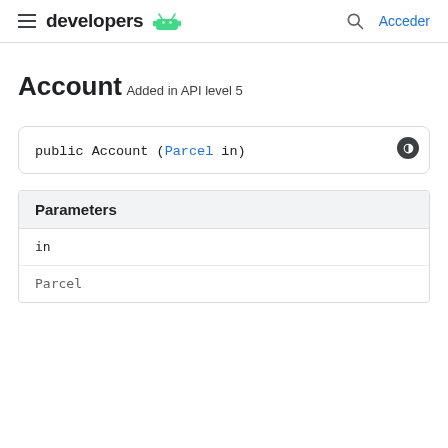developers | Acceder
Account
Added in API level 5
| Parameters |
| --- |
| in |
| Parcel |